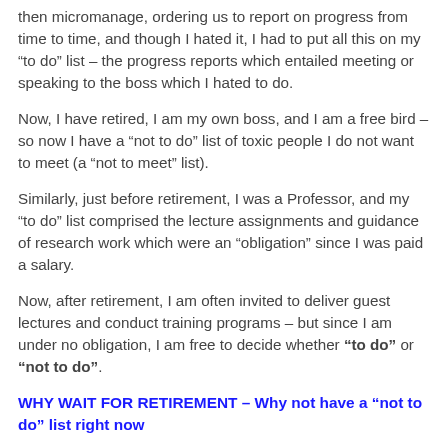then micromanage, ordering us to report on progress from time to time, and though I hated it, I had to put all this on my “to do” list – the progress reports which entailed meeting or speaking to the boss which I hated to do.
Now, I have retired, I am my own boss, and I am a free bird – so now I have a “not to do” list of toxic people I do not want to meet (a “not to meet” list).
Similarly, just before retirement, I was a Professor, and my “to do” list comprised the lecture assignments and guidance of research work which were an “obligation” since I was paid a salary.
Now, after retirement, I am often invited to deliver guest lectures and conduct training programs – but since I am under no obligation, I am free to decide whether “to do” or “not to do”.
WHY WAIT FOR RETIREMENT – Why not have a “not to do” list right now